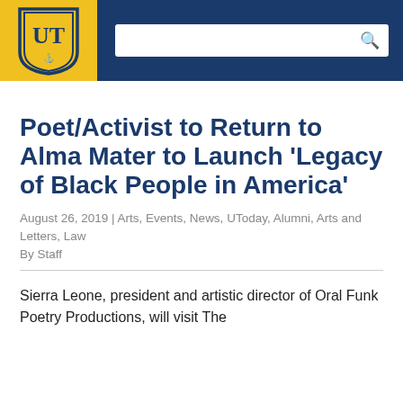[Figure (logo): University of Toledo shield logo in gold and blue, with UT letters]
Poet/Activist to Return to Alma Mater to Launch ‘Legacy of Black People in America’
August 26, 2019 | Arts, Events, News, UToday, Alumni, Arts and Letters, Law
By Staff
Sierra Leone, president and artistic director of Oral Funk Poetry Productions, will visit The